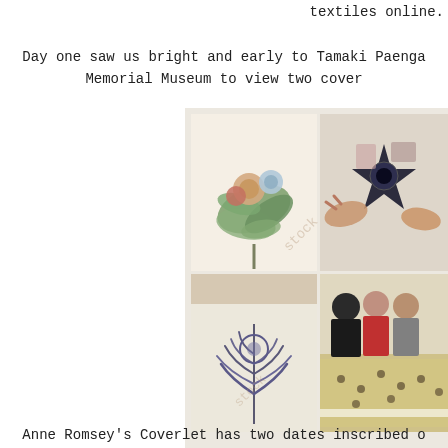textiles online.
Day one saw us bright and early to Tamaki Paenga Memorial Museum to view two cover
[Figure (photo): Four-panel photo collage showing details of the Anne Romsey Coverlet: top-left shows a floral embroidery detail with painted/embroidered flowers and leaves on a light background; top-right shows hands examining a dark geometric star-patterned textile block; bottom-left shows a feathery embroidery motif on light fabric; bottom-right shows people examining a large coverlet laid out on a table. A diagonal watermark appears across the images.]
Details of the Anne Romsey Coverle
Anne Romsey's Coverlet has two dates inscribed o